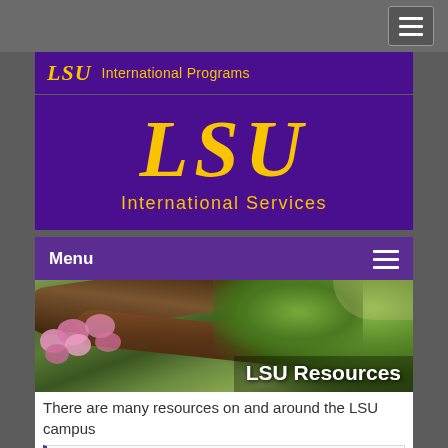[Figure (screenshot): LSU International Programs top navigation bar with small LSU logo in gold italic on purple background]
[Figure (logo): Large LSU logo in gold italic text on purple background with 'International Services' subtitle in gold]
[Figure (screenshot): Purple menu bar with 'Menu' text on left and hamburger icon on right]
[Figure (photo): Photo of large oak tree with Spanish moss and pink azalea flowers on LSU campus with 'LSU Resources' text overlay]
There are many resources on and around the LSU campus
Campus Federal Credit Union